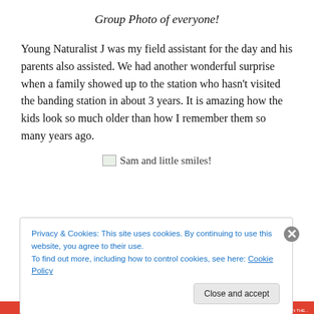Group Photo of everyone!
Young Naturalist J was my field assistant for the day and his parents also assisted. We had another wonderful surprise when a family showed up to the station who hasn't visited the banding station in about 3 years. It is amazing how the kids look so much older than how I remember them so many years ago.
[Figure (photo): Placeholder image for 'Sam and little smiles!' - image failed to load]
Privacy & Cookies: This site uses cookies. By continuing to use this website, you agree to their use.
To find out more, including how to control cookies, see here: Cookie Policy
Close and accept